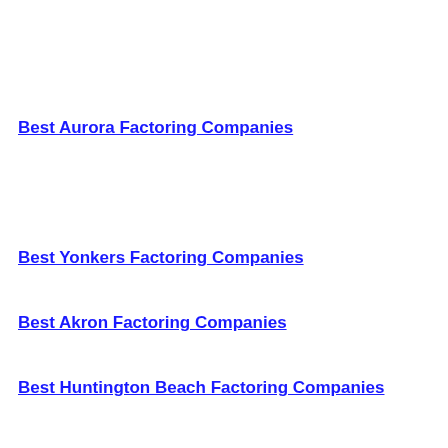Best Aurora Factoring Companies
Best Yonkers Factoring Companies
Best Akron Factoring Companies
Best Huntington Beach Factoring Companies
Best Little Rock Factoring Companies
Best Augusta Factoring Companies